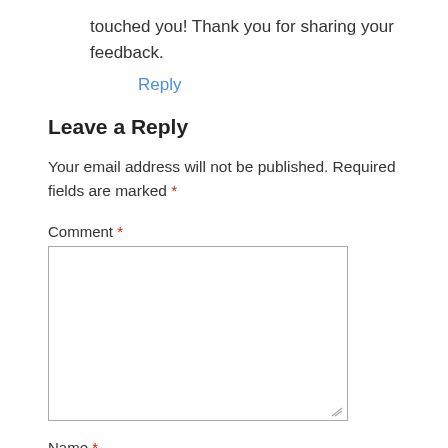touched you! Thank you for sharing your feedback.
Reply
Leave a Reply
Your email address will not be published. Required fields are marked *
Comment *
Name *